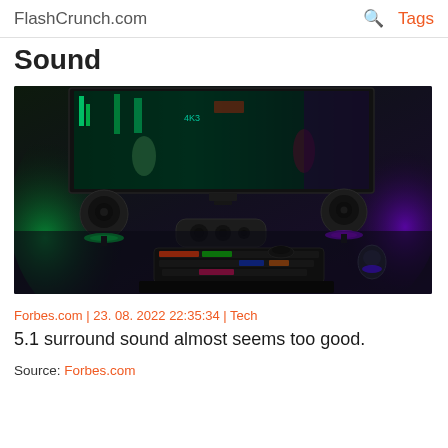FlashCrunch.com | Tags
Sound
[Figure (photo): Gaming setup with RGB lighting — two round satellite speakers with green and purple LED rings, a center channel speaker, a mechanical RGB keyboard, and a mouse on a desk, with a large monitor showing a video game scene in the background.]
Forbes.com | 23. 08. 2022 22:35:34 | Tech
5.1 surround sound almost seems too good.
Source: Forbes.com